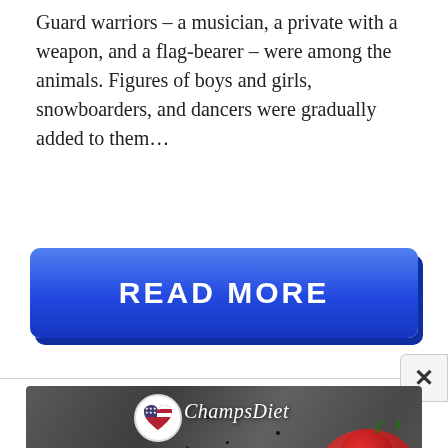Guard warriors – a musician, a private with a weapon, and a flag-bearer – were among the animals. Figures of boys and girls, snowboarders, and dancers were gradually added to them...
[Figure (other): A blue gradient 'READ MORE' button with rounded corners and a slight 3D shadow effect]
[Figure (other): An advertisement banner for ChampsDiet showing food ingredients including cheese, tomatoes, basil and pasta on a dark stone background, with a circular logo featuring a heart with American flag design, the brand name 'ChampsDiet' in cursive, and a 'FREE RECIPES' button with arrows]